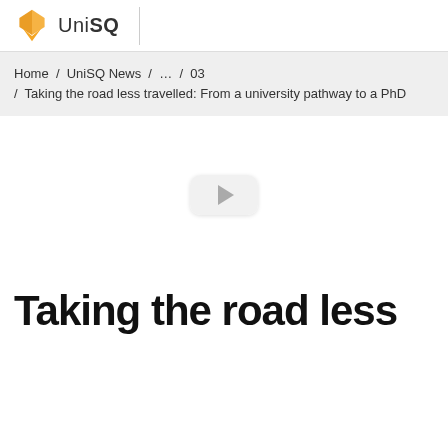UniSQ
Home / UniSQ News / … / 03 / Taking the road less travelled: From a university pathway to a PhD
[Figure (other): Large image area (mostly white/loading) with a video play button overlay in the center]
Taking the road less